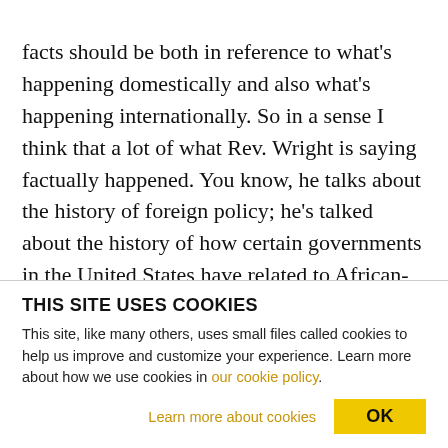facts should be both in reference to what's happening domestically and also what's happening internationally. So in a sense I think that a lot of what Rev. Wright is saying factually happened. You know, he talks about the history of foreign policy; he's talked about the history of how certain governments in the United States have related to African-Americans and Native Americans and working people. And so, you know, he provides a lot of data. Of course there are some questions about the form that he presents it in. But the main thing, I think, if
THIS SITE USES COOKIES
This site, like many others, uses small files called cookies to help us improve and customize your experience. Learn more about how we use cookies in our cookie policy.
Learn more about cookies OK